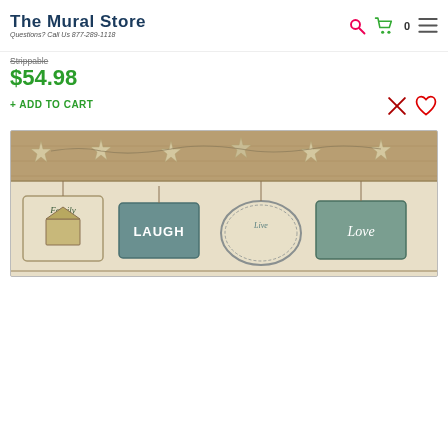The Mural Store — Questions? Call Us 877-289-1118
Strippable
$54.98
+ ADD TO CART
[Figure (photo): Wallpaper border showing rustic wooden signs with the words Family, LAUGH, Live, Love, decorated with stars and vines on a distressed wood background]